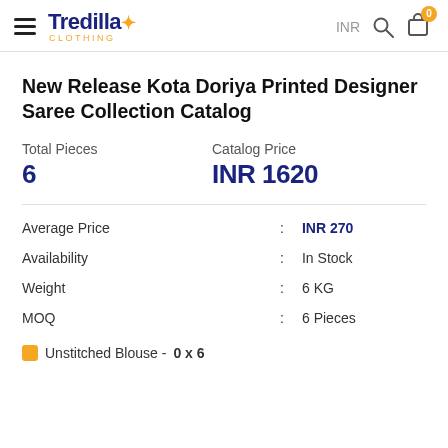Tredilla Clothing — INR search cart
New Release Kota Doriya Printed Designer Saree Collection Catalog
Total Pieces: 6 | Catalog Price: INR 1620
| Field | : | Value |
| --- | --- | --- |
| Average Price | : | INR 270 |
| Availability | : | In Stock |
| Weight | : | 6 KG |
| MOQ | : | 6 Pieces |
Unstitched Blouse - 0 x 6